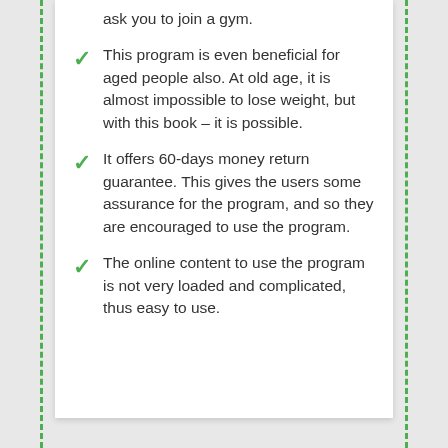ask you to join a gym.
This program is even beneficial for aged people also. At old age, it is almost impossible to lose weight, but with this book – it is possible.
It offers 60-days money return guarantee. This gives the users some assurance for the program, and so they are encouraged to use the program.
The online content to use the program is not very loaded and complicated, thus easy to use.